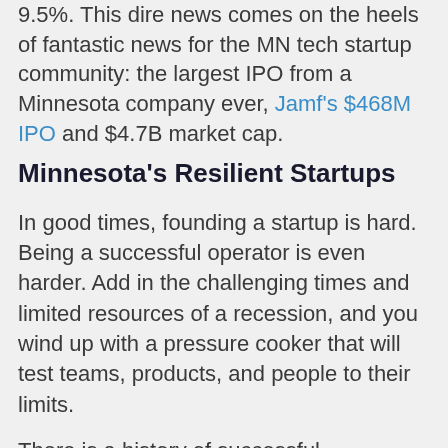9.5%. This dire news comes on the heels of fantastic news for the MN tech startup community: the largest IPO from a Minnesota company ever, Jamf's $468M IPO and $4.7B market cap.
Minnesota's Resilient Startups
In good times, founding a startup is hard. Being a successful operator is even harder. Add in the challenging times and limited resources of a recession, and you wind up with a pressure cooker that will test teams, products, and people to their limits.
There is a history of successful companies